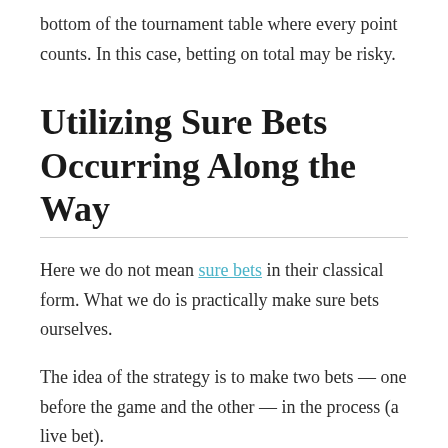bottom of the tournament table where every point counts. In this case, betting on total may be risky.
Utilizing Sure Bets Occurring Along the Way
Here we do not mean sure bets in their classical form. What we do is practically make sure bets ourselves.
The idea of the strategy is to make two bets — one before the game and the other — in the process (a live bet).